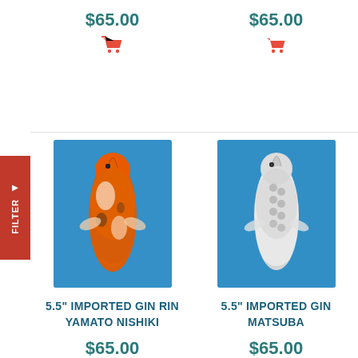$65.00
[Figure (illustration): Red shopping cart icon]
$65.00
[Figure (illustration): Red shopping cart icon]
[Figure (photo): Overhead photo of an orange and white Gin Rin Yamato Nishiki koi fish on blue background]
[Figure (photo): Overhead photo of a white/silver Gin Matsuba koi fish on blue background]
5.5" IMPORTED GIN RIN YAMATO NISHIKI
5.5" IMPORTED GIN MATSUBA
$65.00
[Figure (illustration): Red shopping cart icon]
$65.00
[Figure (illustration): Red shopping cart icon]